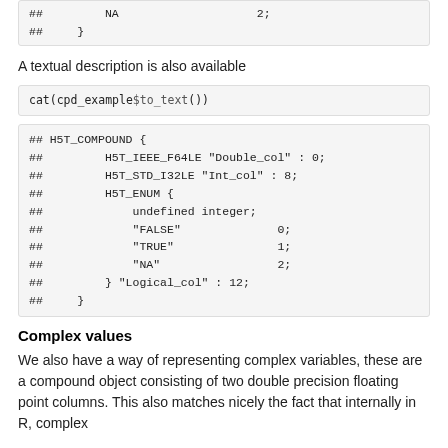## NA 2;
## }
A textual description is also available
cat(cpd_example$to_text())
## H5T_COMPOUND {
##         H5T_IEEE_F64LE "Double_col" : 0;
##         H5T_STD_I32LE "Int_col" : 8;
##         H5T_ENUM {
##             undefined integer;
##             "FALSE"              0;
##             "TRUE"               1;
##             "NA"                 2;
##         } "Logical_col" : 12;
##     }
Complex values
We also have a way of representing complex variables, these are a compound object consisting of two double precision floating point columns. This also matches nicely the fact that internally in R, complex